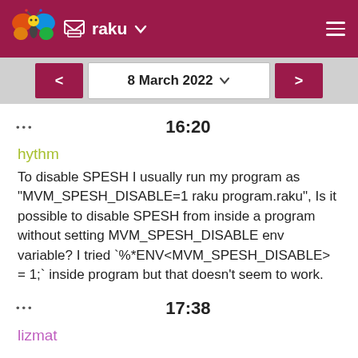raku
8 March 2022
••• 16:20
hythm
To disable SPESH I usually run my program as "MVM_SPESH_DISABLE=1 raku program.raku", Is it possible to disable SPESH from inside a program without setting MVM_SPESH_DISABLE env variable? I tried `%*ENV<MVM_SPESH_DISABLE> = 1;` inside program but that doesn't seem to work.
••• 17:38
lizmat